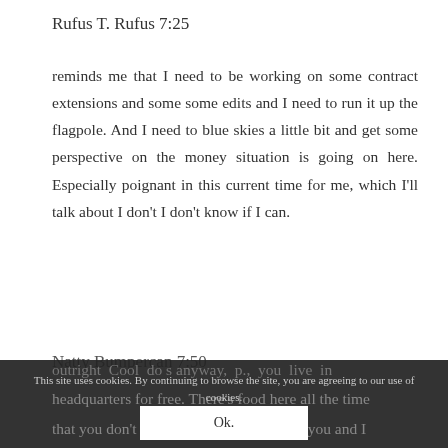Rufus T. Rufus 7:25
reminds me that I need to be working on some contract extensions and some some edits and I need to run it up the flagpole. And I need to blue skies a little bit and get some perspective on the money situation is going on here. Especially poignant in this current time for me, which I'll talk about I don't I don't know if I can.
Natty Bumpercan 7:50
outright Cool do s anyway, p., you live in headquarters for free. There's food here all the time that you don't pay for. I don't pay you and I
This site uses cookies. By continuing to browse the site, you are agreeing to our use of cookies.
Ok.